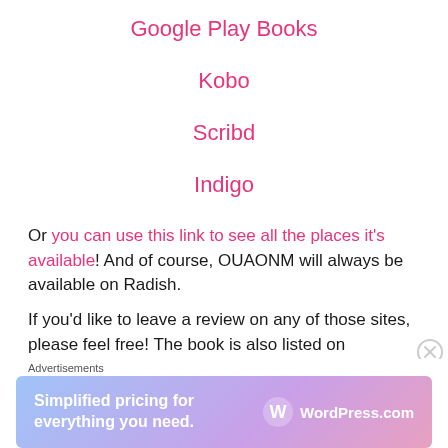Google Play Books
Kobo
Scribd
Indigo
Or you can use this link to see all the places it's available! And of course, OUAONM will always be available on Radish.
If you'd like to leave a review on any of those sites, please feel free! The book is also listed on Goodreads if you'd like to add it there as well.
Thanks for joining me on this journey, and you'll be seeing
Advertisements
[Figure (screenshot): WordPress.com advertisement banner: 'Simplified pricing for everything you need.' with WordPress.com logo on gradient background.]